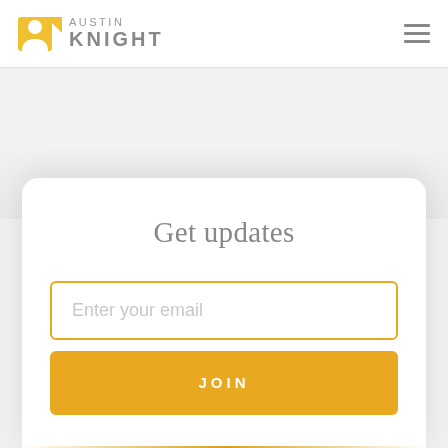AUSTIN KNIGHT
Get updates
Enter your email
JOIN